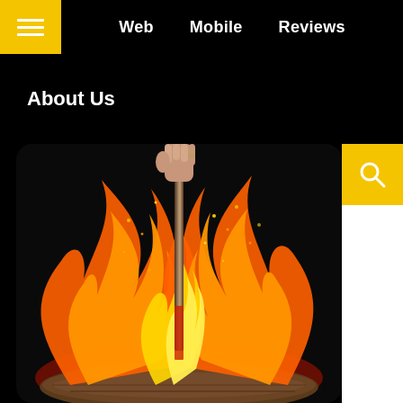Web   Mobile   Reviews
About Us
[Figure (photo): A hand gripping a sword plunged into a burning log, surrounded by large orange and yellow flames against a dark background. The sword has sparks around it. The image has rounded corners.]